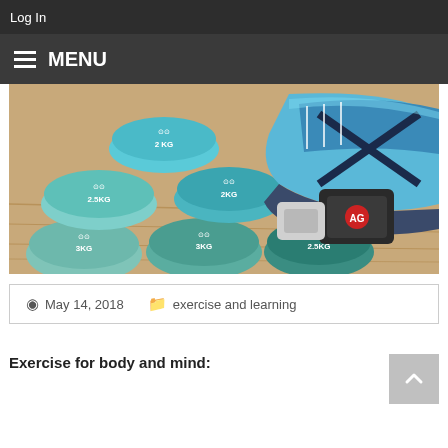Log In
≡ MENU
[Figure (photo): Fitness equipment photo showing teal/blue dumbbells labeled 2KG, 2.5KG, 3KG and blue ASICS running shoes on a wooden surface, with a black ankle weight bag]
May 14, 2018    exercise and learning
Exercise for body and mind: